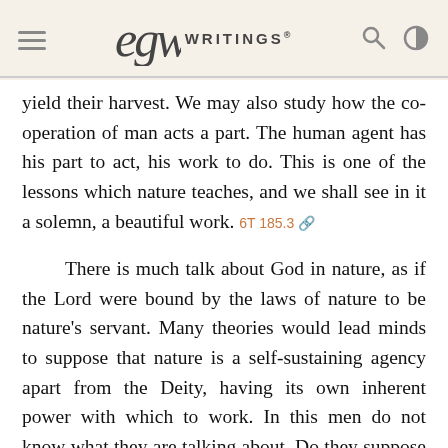EGW Writings
yield their harvest. We may also study how the co-operation of man acts a part. The human agent has his part to act, his work to do. This is one of the lessons which nature teaches, and we shall see in it a solemn, a beautiful work. 6T 185.3
There is much talk about God in nature, as if the Lord were bound by the laws of nature to be nature's servant. Many theories would lead minds to suppose that nature is a self-sustaining agency apart from the Deity, having its own inherent power with which to work. In this men do not know what they are talking about. Do they suppose that nature has a self-existing power without the continual agency of Jehovah? The Lord does not work through His laws